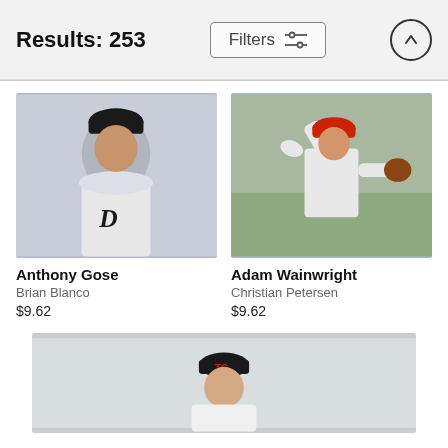Results: 253
Filters
[Figure (photo): Anthony Gose wearing Detroit Tigers uniform, portrait photo]
Anthony Gose
Brian Blanco
$9.62
[Figure (photo): Adam Wainwright pitching in Cardinals uniform, action photo]
Adam Wainwright
Christian Petersen
$9.62
[Figure (photo): Minnesota Twins pitcher portrait, partially visible at bottom of page]